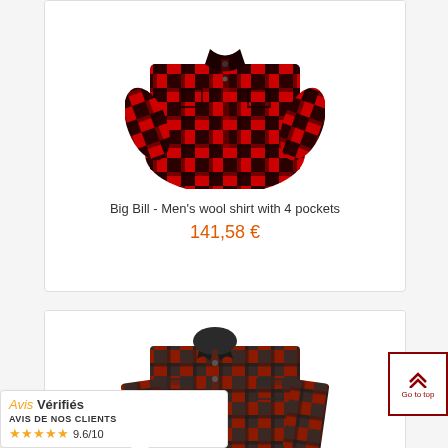[Figure (photo): Red and black buffalo plaid men's wool shirt with 4 pockets, shown from above on white background]
Big Bill - Men's wool shirt with 4 pockets
141,58 €
[Figure (photo): Red and dark/charcoal buffalo plaid men's jacket/shirt, shown on white background from front angle]
Go to top
Avis Vérifiés - AVIS DE NOS CLIENTS ★★★★★ 9.6/10